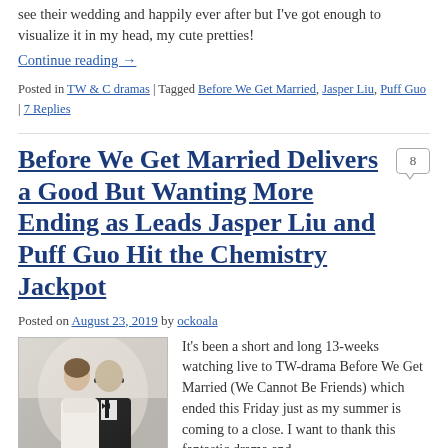see their wedding and happily ever after but I've got enough to visualize it in my head, my cute pretties!
Continue reading →
Posted in TW & C dramas | Tagged Before We Get Married, Jasper Liu, Puff Guo | 7 Replies
Before We Get Married Delivers a Good But Wanting More Ending as Leads Jasper Liu and Puff Guo Hit the Chemistry Jackpot
Posted on August 23, 2019 by ockoala
[Figure (photo): Photo of two people, a woman in a white off-shoulder dress and a man in a black tuxedo, facing each other]
It's been a short and long 13-weeks watching live to TW-drama Before We Get Married (We Cannot Be Friends) which ended this Friday just as my summer is coming to a close. I want to thank this fantastic drama and …
Continue reading →